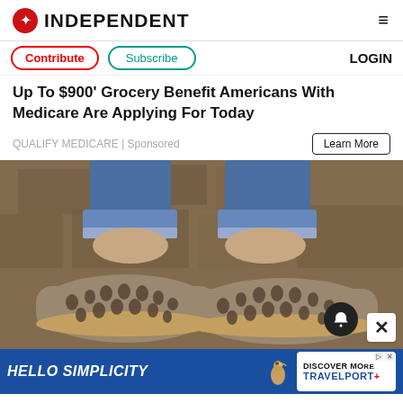INDEPENDENT
Contribute | Subscribe | LOGIN
Up To $900' Grocery Benefit Americans With Medicare Are Applying For Today
QUALIFY MEDICARE | Sponsored
Learn More
[Figure (photo): Close-up photo of a person's feet wearing grey suede cut-out flat sandals/shoes with floral laser-cut pattern, paired with rolled-up blue jeans, against a stone wall background.]
HELLO SIMPLICITY | DISCOVER MORE | TRAVELPORT+